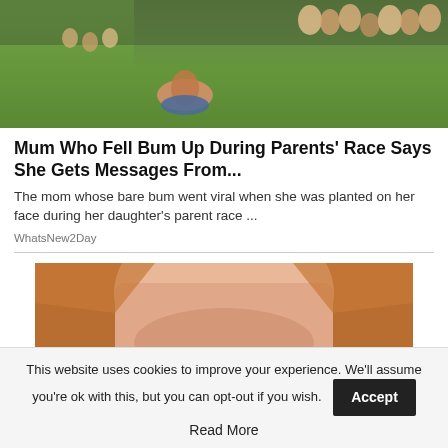[Figure (photo): Outdoor sports day or school field event. Green grass field with people sitting along the edges/bleachers in the background. A person is lying face-down on the grass in the foreground with their bottom visible.]
Mum Who Fell Bum Up During Parents' Race Says She Gets Messages From...
The mom whose bare bum went viral when she was planted on her face during her daughter's parent race ...
WhatsNew2Day
[Figure (photo): Close-up photo of a woman with reddish-brown hair, showing face and upper body, cropped.]
This website uses cookies to improve your experience. We'll assume you're ok with this, but you can opt-out if you wish.
Accept
Read More